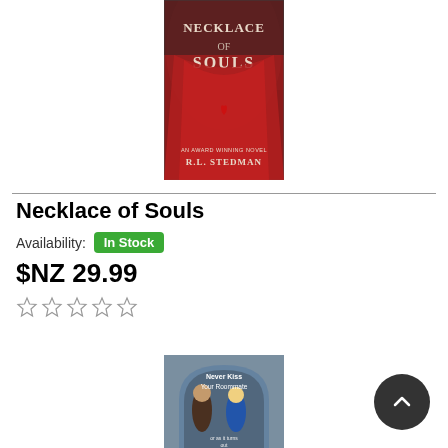[Figure (illustration): Book cover for 'Necklace of Souls' by R.L. Stedman — red dramatic cover with white serif title text and a heart pendant]
Necklace of Souls
Availability: In Stock
$NZ 29.99
[Figure (illustration): Five empty star rating icons in a row]
[Figure (illustration): Book cover for 'Never Kiss Your Roommate' — illustrated cover showing two characters in a blue archway]